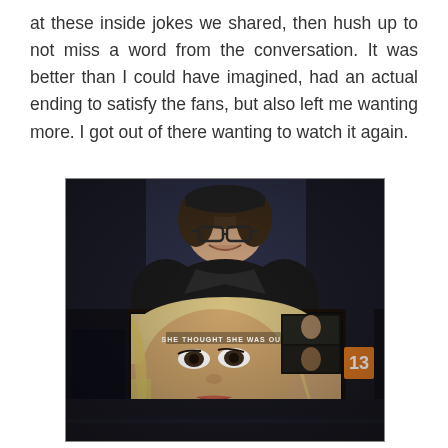at these inside jokes we shared, then hush up to not miss a word from the conversation. It was better than I could have imagined, had an actual ending to satisfy the fans, but also left me wanting more. I got out of there wanting to watch it again.
[Figure (photo): A person smiling at a movie theater, standing behind a movie poster. The poster appears to be for Veronica Mars film showing a blonde woman's face with the text 'SHE THOUGHT SHE WAS OUT'. Number 13 is visible on a yellow-orange tag on the right side of the poster.]